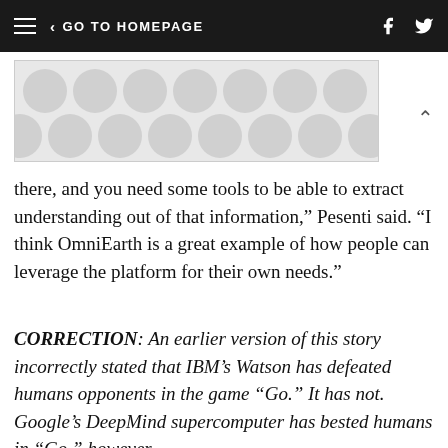GO TO HOMEPAGE
[Figure (illustration): Decorative banner image with a polka dot pattern in light grey tones]
there, and you need some tools to be able to extract understanding out of that information," Pesenti said. “I think OmniEarth is a great example of how people can leverage the platform for their own needs.”
CORRECTION: An earlier version of this story incorrectly stated that IBM’s Watson has defeated humans opponents in the game "Go." It has not. Google’s DeepMind supercomputer has bested humans in "Go," however.